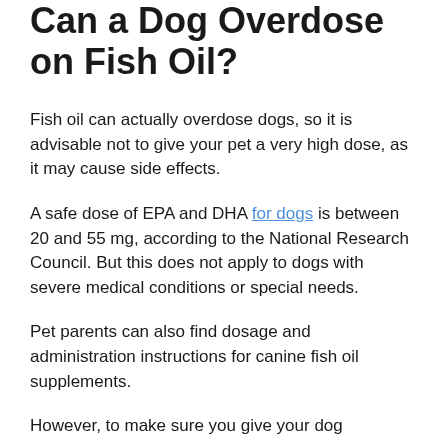Can a Dog Overdose on Fish Oil?
Fish oil can actually overdose dogs, so it is advisable not to give your pet a very high dose, as it may cause side effects.
A safe dose of EPA and DHA for dogs is between 20 and 55 mg, according to the National Research Council. But this does not apply to dogs with severe medical conditions or special needs.
Pet parents can also find dosage and administration instructions for canine fish oil supplements.
However, to make sure you give your dog